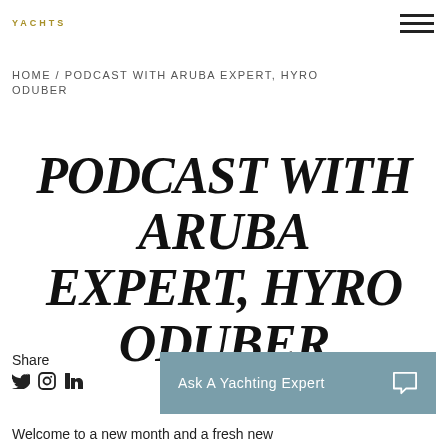YACHTS
HOME / PODCAST WITH ARUBA EXPERT, HYRO ODUBER
PODCAST WITH ARUBA EXPERT, HYRO ODUBER
Share
[Figure (other): Ask A Yachting Expert button with chat bubble icon]
Welcome to a new month and a fresh new podcast episode! Today, we're joined by Hyro